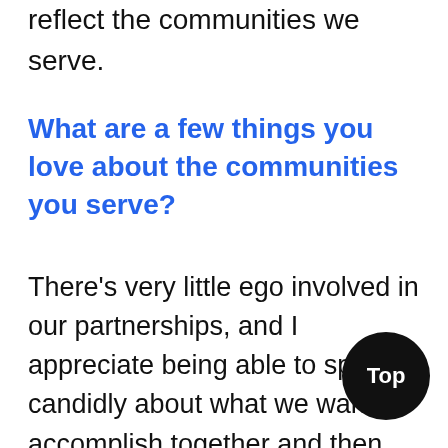reflect the communities we serve.
What are a few things you love about the communities you serve?
There's very little ego involved in our partnerships, and I appreciate being able to speak candidly about what we want to accomplish together and then pull up our sleeves to get things done. On the surface, compensation work can seem kind of dry and formulaic, but